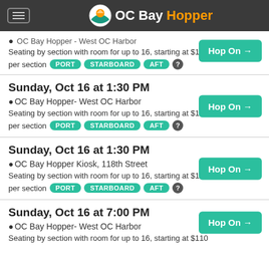OC Bay Hopper
OC Bay Hopper - West OC Harbor
Seating by section with room for up to 16, starting at $110 per section PORT STARBOARD AFT
Sunday, Oct 16 at 1:30 PM
OC Bay Hopper- West OC Harbor
Seating by section with room for up to 16, starting at $110 per section PORT STARBOARD AFT
Sunday, Oct 16 at 1:30 PM
OC Bay Hopper Kiosk, 118th Street
Seating by section with room for up to 16, starting at $110 per section PORT STARBOARD AFT
Sunday, Oct 16 at 7:00 PM
OC Bay Hopper- West OC Harbor
Seating by section with room for up to 16, starting at $110